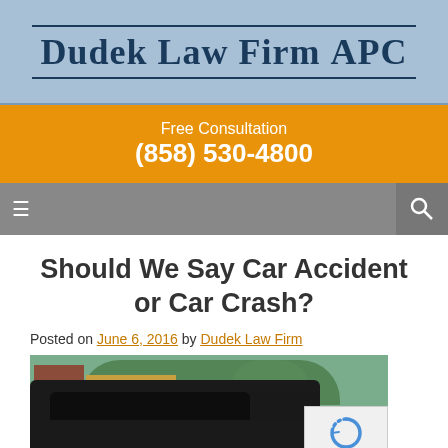[Figure (logo): Dudek Law Firm APC logo on light blue background with serif font and double border lines]
Free Consultation
(858) 530-4800
[Figure (screenshot): Navigation bar with hamburger menu icon on left and search icon on right, gray background]
Should We Say Car Accident or Car Crash?
Posted on June 6, 2016 by Dudek Law Firm
[Figure (photo): Photo of a car crash scene showing a damaged vehicle with smashed roof, trees and a building in the background]